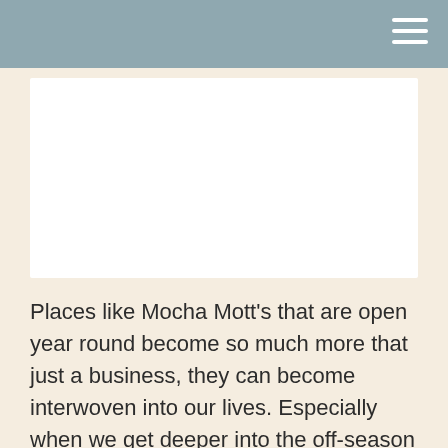[Figure (other): White rectangular image placeholder area]
Places like Mocha Mott's that are open year round become so much more that just a business, they can become interwoven into our lives. Especially when we get deeper into the off-season months. It's that light on the street,